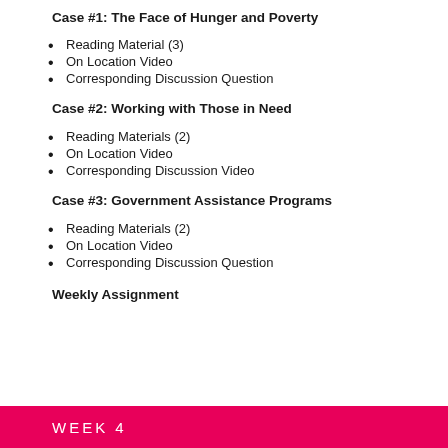Case #1: The Face of Hunger and Poverty
Reading Material (3)
On Location Video
Corresponding Discussion Question
Case #2: Working with Those in Need
Reading Materials (2)
On Location Video
Corresponding Discussion Video
Case #3: Government Assistance Programs
Reading Materials (2)
On Location Video
Corresponding Discussion Question
Weekly Assignment
WEEK 4